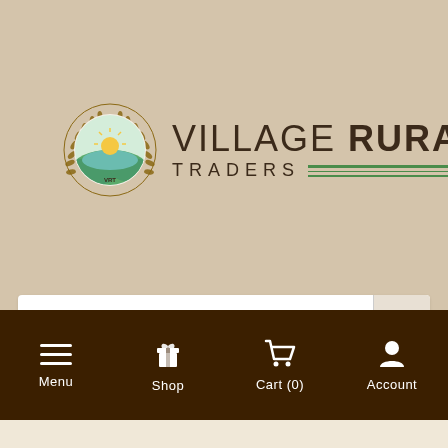[Figure (logo): Village Rural Traders logo with circular emblem showing wheat wreath, sun rising over green fields, and the text VILLAGE RURAL TRADERS with green horizontal lines]
[Figure (screenshot): Search bar with white background and magnifying glass search button on right]
[Figure (screenshot): Dark brown navigation bar with Menu, Shop, Cart (0), and Account icons and labels]